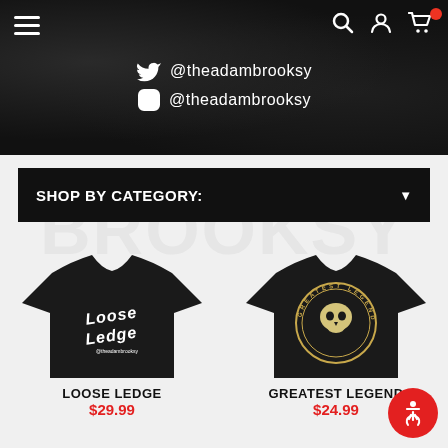Navigation bar with hamburger menu, search, user, and cart icons
@theadambrooksy (Twitter)
@theadambrooksy (Instagram)
SHOP BY CATEGORY:
[Figure (photo): Black t-shirt with Loose Ledge graphic text logo in white]
LOOSE LEDGE
$29.99
[Figure (photo): Black t-shirt with Greatest Legend skull graphic in gold and white circular design]
GREATEST LEGEND
$24.99